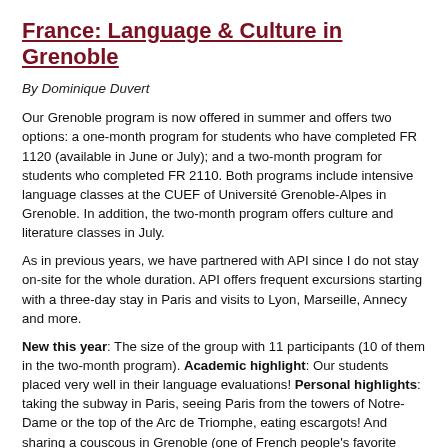France: Language & Culture in Grenoble
By Dominique Duvert
Our Grenoble program is now offered in summer and offers two options: a one-month program for students who have completed FR 1120 (available in June or July); and a two-month program for students who completed FR 2110. Both programs include intensive language classes at the CUEF of Université Grenoble-Alpes in Grenoble. In addition, the two-month program offers culture and literature classes in July.
As in previous years, we have partnered with API since I do not stay on-site for the whole duration. API offers frequent excursions starting with a three-day stay in Paris and visits to Lyon, Marseille, Annecy and more.
New this year: The size of the group with 11 participants (10 of them in the two-month program). Academic highlight: Our students placed very well in their language evaluations! Personal highlights: taking the subway in Paris, seeing Paris from the towers of Notre-Dame or the top of the Arc de Triomphe, eating escargots! And sharing a couscous in Grenoble (one of French people's favorite meals). There is more to come, more fun, personal growth, mastering